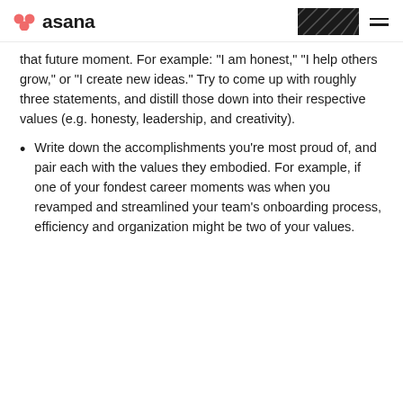asana [navigation bar with logo and menu]
that future moment. For example: "I am honest," "I help others grow," or "I create new ideas." Try to come up with roughly three statements, and distill those down into their respective values (e.g. honesty, leadership, and creativity).
Write down the accomplishments you’re most proud of, and pair each with the values they embodied. For example, if one of your fondest career moments was when you revamped and streamlined your team’s onboarding process, efficiency and organization might be two of your values.